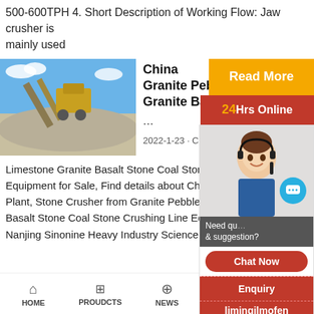500-600TPH 4. Short Description of Working Flow: Jaw crusher is mainly used
[Figure (photo): Mining stone crushing plant with conveyor equipment against blue sky]
China Granite Pebble ... Granite Basalt ...
2022-1-23 · China
Limestone Granite Basalt Stone Coal Stone Crushing Equipment for Sale, Find details about China Aggregate Plant, Stone Crusher from Granite Pebbles Limestone Basalt Stone Coal Stone Crushing Line Equipment - Nanjing Sinonine Heavy Industry Science & Tech
[Figure (photo): Customer service agent with headset - 24Hrs Online support panel with Read More button, chat and enquiry options]